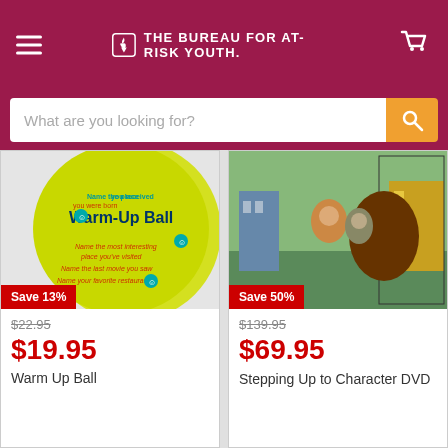The Bureau for At-Risk Youth
[Figure (screenshot): Search bar with placeholder 'What are you looking for?' and orange search button]
[Figure (photo): Yellow Warm-Up Ball product image with text questions printed on it and 'Save 13%' red badge]
$22.95
$19.95
Warm Up Ball
[Figure (photo): Stepping Up to Character DVD cover showing puppets and a man, with 'Save 50%' red badge]
$139.95
$69.95
Stepping Up to Character DVD